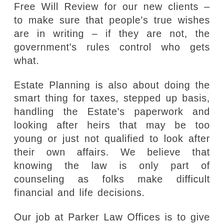Free Will Review for our new clients – to make sure that people's true wishes are in writing – if they are not, the government's rules control who gets what.
Estate Planning is also about doing the smart thing for taxes, stepped up basis, handling the Estate's paperwork and looking after heirs that may be too young or just not qualified to look after their own affairs. We believe that knowing the law is only part of counseling as folks make difficult financial and life decisions.
Our job at Parker Law Offices is to give you peace of mind on those and other thorny questions. Together,